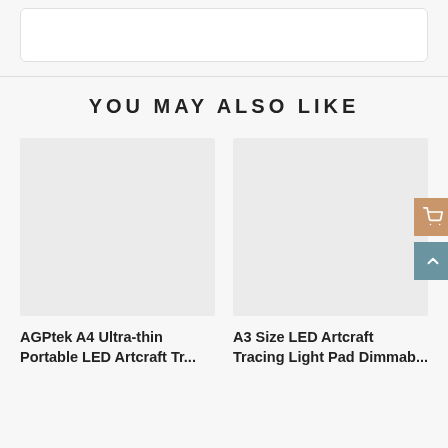[Figure (screenshot): White rounded rectangle top bar element on gray background]
YOU MAY ALSO LIKE
[Figure (photo): Product image placeholder for AGPtek A4 Ultra-thin Portable LED Artcraft Tr...]
AGPtek A4 Ultra-thin Portable LED Artcraft Tr...
[Figure (photo): Product image placeholder for A3 Size LED Artcraft Tracing Light Pad Dimmab...]
A3 Size LED Artcraft Tracing Light Pad Dimmab...